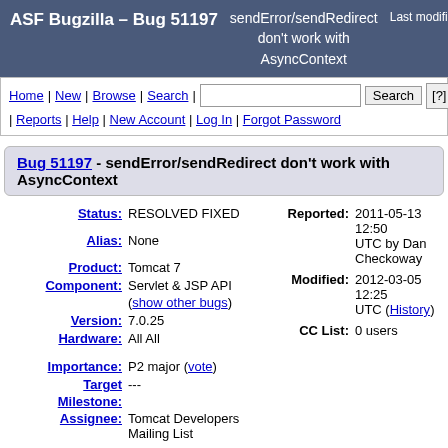ASF Bugzilla – Bug 51197   sendError/sendRedirect don't work with AsyncContext   Last modified: 2012-0
Home | New | Browse | Search | [search box] Search [?] | Reports | Help | New Account | Log In | Forgot Password
Bug 51197 - sendError/sendRedirect don't work with AsyncContext
Status: RESOLVED FIXED
Alias: None
Product: Tomcat 7
Component: Servlet & JSP API (show other bugs)
Version: 7.0.25
Hardware: All All
Importance: P2 major (vote)
Target Milestone: ---
Assignee: Tomcat Developers Mailing List
Reported: 2011-05-13 12:50 UTC by Dan Checkoway
Modified: 2012-03-05 12:25 UTC (History)
CC List: 0 users